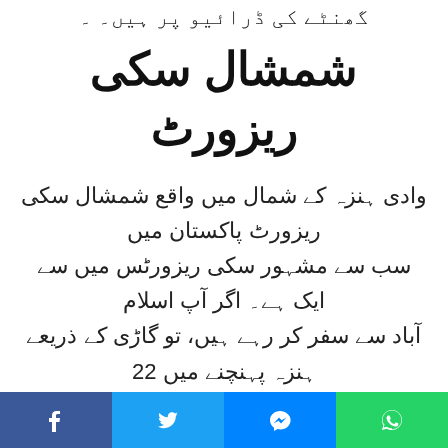گھنٹے کی ڈرائیو پر ہیں۔
شمشال سکی ریزورٹ
وادی ہنزہ کے شمال میں واقع شمشال سکی ریزورٹ پاکستان میں سب سے مشہور سکی ریزورٹس میں سے ایک ہے۔ اگر آپ اسلام آباد سے سفر کر رہے ہیں، تو گاڑی کے ذریعے ہنزہ پہنچنے میں 22 گھنٹے لگیں گے۔
سطح سمندر سے 2،500 میٹر کی بلندی پر خود کو ہم آہنگ کرنے کے لیے آپ کو تین یا پانچ دن کا وقت دینا چاہیے، صبح گھنٹے کا ٹائم۔
Facebook | Twitter | Messenger | WhatsApp